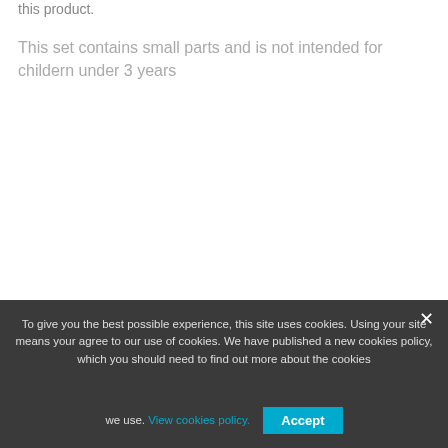this product.
This set contains small parts and is not intended for childern under 3 years
To give you the best possible experience, this site uses cookies. Using your site means your agree to our use of cookies. We have published a new cookies policy, which you should need to find out more about the cookies we use. View cookies policy. Accept